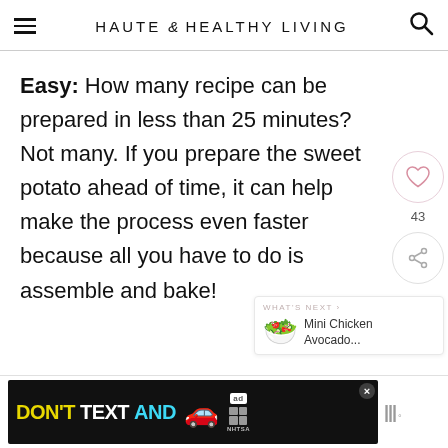HAUTE & HEALTHY LIVING
Easy: How many recipe can be prepared in less than 25 minutes? Not many. If you prepare the sweet potato ahead of time, it can help make the process even faster because all you have to do is assemble and bake!
[Figure (screenshot): Social sharing widget with heart icon showing 43 likes and a share icon]
[Figure (infographic): What's Next panel showing Mini Chicken Avocado... with food emoji]
[Figure (infographic): Ad banner: DON'T TEXT AND (car emoji) with NHTSA branding]